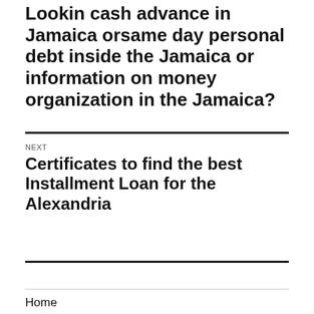Lookin cash advance in Jamaica orsame day personal debt inside the Jamaica or information on money organization in the Jamaica?
NEXT
Certificates to find the best Installment Loan for the Alexandria
Home